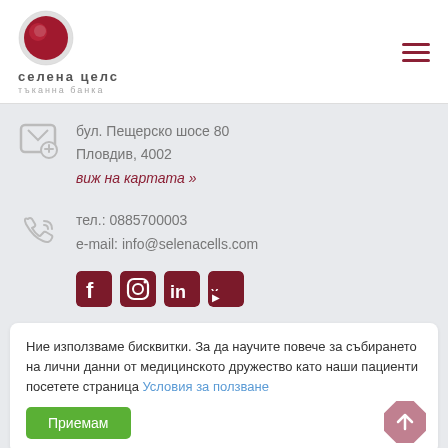[Figure (logo): Selena Cells tissue bank logo with red circle and Cyrillic text 'селена целс тъканна банка']
бул. Пещерско шосе 80
Пловдив, 4002
виж на картата »
тел.: 0885700003
e-mail: info@selenacells.com
[Figure (illustration): Social media icons: Facebook, Instagram, LinkedIn, YouTube in dark red color]
Ние използваме бисквитки. За да научите повече за събирането на лични данни от медицинското дружество като наши пациенти посетете страница Условия за ползване